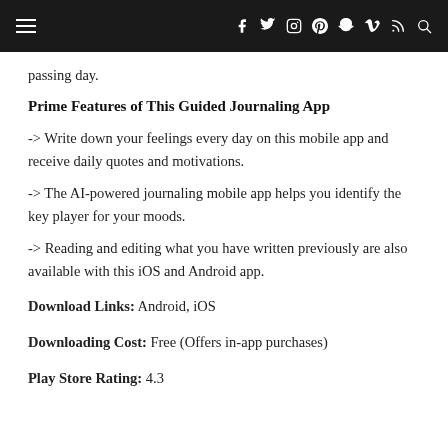≡  f  twitter  instagram  pinterest  snapchat  vimeo  rss  search
passing day.
Prime Features of This Guided Journaling App
-> Write down your feelings every day on this mobile app and receive daily quotes and motivations.
-> The AI-powered journaling mobile app helps you identify the key player for your moods.
-> Reading and editing what you have written previously are also available with this iOS and Android app.
Download Links: Android, iOS
Downloading Cost: Free (Offers in-app purchases)
Play Store Rating: 4.3